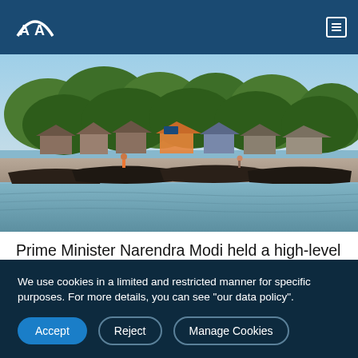AA (Anadolu Agency) logo and navigation
[Figure (photo): Wooden boats moored along a riverbank with stilted houses and lush green trees in the background, people visible near the boats]
Prime Minister Narendra Modi held a high-level meeting Monday and reviewed the response preparedness and
We use cookies in a limited and restricted manner for specific purposes. For more details, you can see "our data policy".
Accept   Reject   Manage Cookies